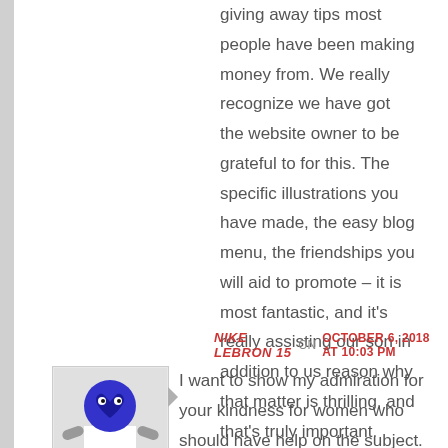giving away tips most people have been making money from. We really recognize we have got the website owner to be grateful to for this. The specific illustrations you have made, the easy blog menu, the friendships you will aid to promote – it is most fantastic, and it's really assisting our son in addition to us reason why that matter is thrilling, and that's truly important. Thank you for the whole thing!
NIKE LEBRON 15  ON  OCTOBER 6, 2018 AT 10:03 PM
[Figure (illustration): Avatar image of a blue cartoon robot/alien figure on a gray background]
I want to show my admiration for your kindness for women who should have help on the subject. Your very own commitment to getting the message all-around became